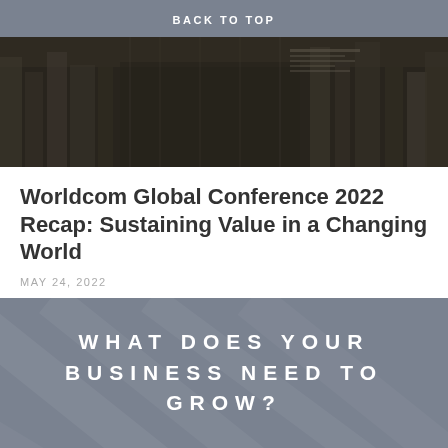BACK TO TOP
[Figure (photo): Dark cityscape or architectural photo with overlapping building silhouettes in muted brown and dark tones]
Worldcom Global Conference 2022 Recap: Sustaining Value in a Changing World
MAY 24, 2022
WHAT DOES YOUR BUSINESS NEED TO GROW?